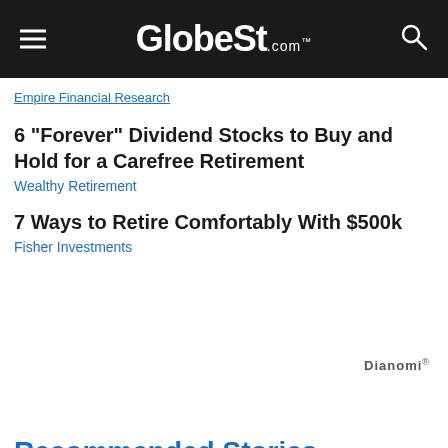GlobeSt.com
Empire Financial Research
6 "Forever" Dividend Stocks to Buy and Hold for a Carefree Retirement
Wealthy Retirement
7 Ways to Retire Comfortably With $500k
Fisher Investments
Dianomi
Recommended Stories
Newly Leased